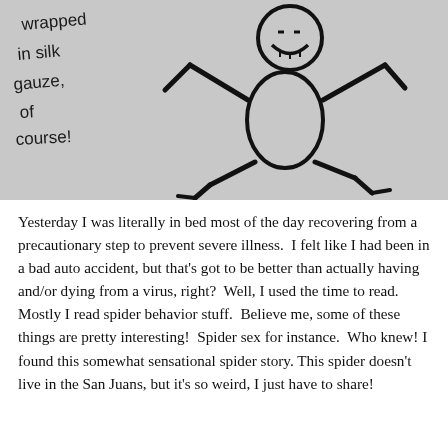[Figure (illustration): A hand-drawn pencil/charcoal sketch of a stick figure with a round smiling head and a large oval body, running or dancing with arms and legs outstretched. In the upper left, handwritten text reads 'wrapped in silk gauze, of course!'. The background is grey/paper-textured.]
Yesterday I was literally in bed most of the day recovering from a precautionary step to prevent severe illness.  I felt like I had been in a bad auto accident, but that's got to be better than actually having and/or dying from a virus, right?  Well, I used the time to read.  Mostly I read spider behavior stuff.  Believe me, some of these things are pretty interesting!  Spider sex for instance.  Who knew! I found this somewhat sensational spider story. This spider doesn't live in the San Juans, but it's so weird, I just have to share!